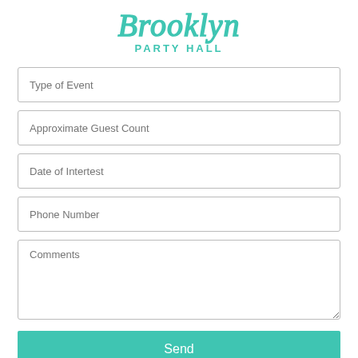[Figure (logo): Brooklyn Party Hall logo with teal script 'Brooklyn' above teal block text 'PARTY HALL']
Type of Event
Approximate Guest Count
Date of Intertest
Phone Number
Comments
Send